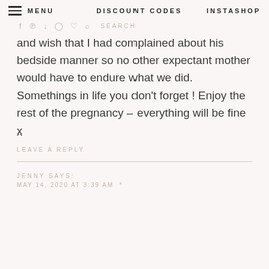MENU   DISCOUNT CODES   INSTASHOP
and wish that I had complained about his bedside manner so no other expectant mother would have to endure what we did. Somethings in life you don't forget ! Enjoy the rest of the pregnancy – everything will be fine x
LEAVE A REPLY
JENNY SAYS:
MAY 14, 2020 AT 3:39 AM *